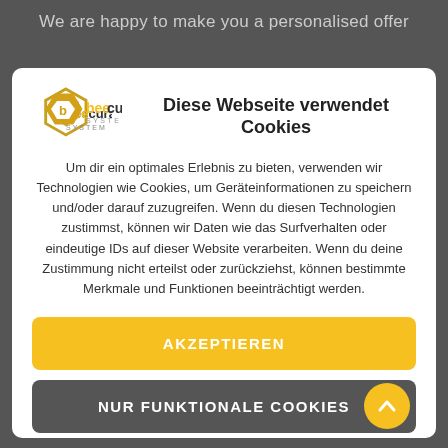We are happy to make you a personalised offer
[Figure (logo): Beecura System logo with hexagon icon]
Diese Webseite verwendet Cookies
Um dir ein optimales Erlebnis zu bieten, verwenden wir Technologien wie Cookies, um Geräteinformationen zu speichern und/oder darauf zuzugreifen. Wenn du diesen Technologien zustimmst, können wir Daten wie das Surfverhalten oder eindeutige IDs auf dieser Website verarbeiten. Wenn du deine Zustimmung nicht erteilst oder zurückziehst, können bestimmte Merkmale und Funktionen beeinträchtigt werden.
AKZEPTIEREN
NUR FUNKTIONALE COOKIES
EINSTELLUNGEN